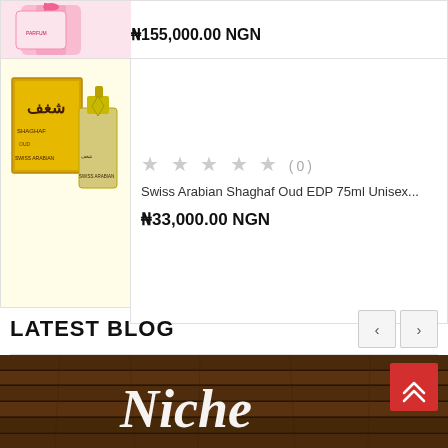₦155,000.00 NGN
[Figure (photo): Pink perfume bottle and box product image (partially visible at top)]
[Figure (photo): Swiss Arabian Shaghaf Oud EDP 75ml perfume box and bottle in yellow/gold packaging]
★★★★★ (0)
Swiss Arabian Shaghaf Oud EDP 75ml Unisex...
₦33,000.00 NGN
LATEST BLOG
[Figure (photo): Wood plank background blog thumbnail with white script text reading 'Niche' and a red scroll-to-top button overlay]